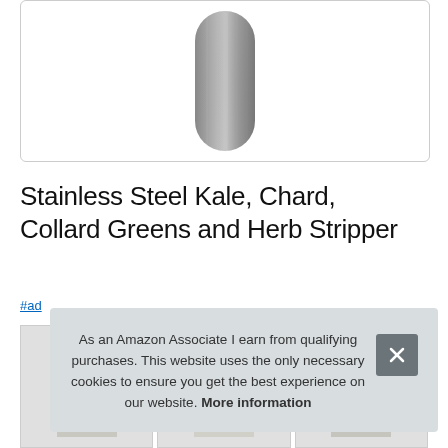[Figure (photo): Stainless steel herb and kale stripper tool shown from above, pill/oval shaped gunmetal gray metallic object, product photo on white background inside a rounded rectangle border]
Stainless Steel Kale, Chard, Collard Greens and Herb Stripper
#ad
[Figure (photo): Thumbnail images of product in use shown at bottom of page, partially visible]
As an Amazon Associate I earn from qualifying purchases. This website uses the only necessary cookies to ensure you get the best experience on our website. More information